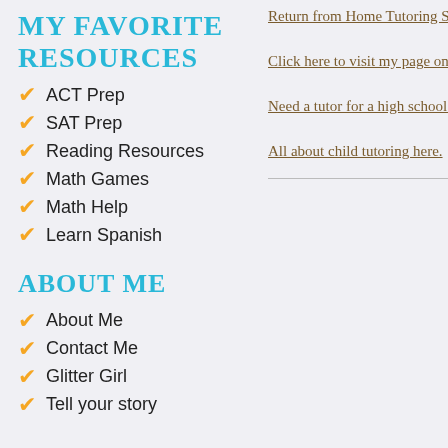MY FAVORITE RESOURCES
ACT Prep
SAT Prep
Reading Resources
Math Games
Math Help
Learn Spanish
ABOUT ME
About Me
Contact Me
Glitter Girl
Tell your story
Return from Home Tutoring Serv
Click here to visit my page on on
Need a tutor for a high school stu
All about child tutoring here.